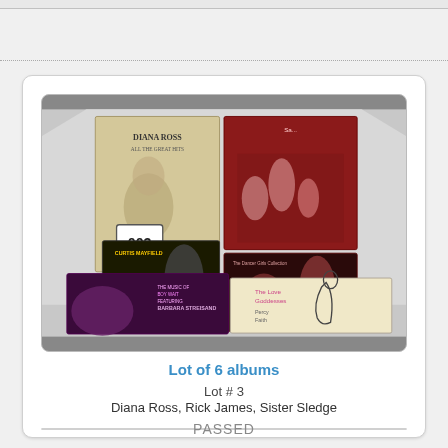[Figure (photo): Photograph showing 6 vinyl record albums arranged on a light grey surface with a '003' tag visible. Albums include Diana Ross All the Great Hits, Curtis Mayfield Super Fly, Sister Sledge album, a funk/soul album, a Marvin Gaye or similar soul record, and The Love Goddesses by Percy Faith.]
Lot of 6 albums
Lot # 3
Diana Ross, Rick James, Sister Sledge
PASSED